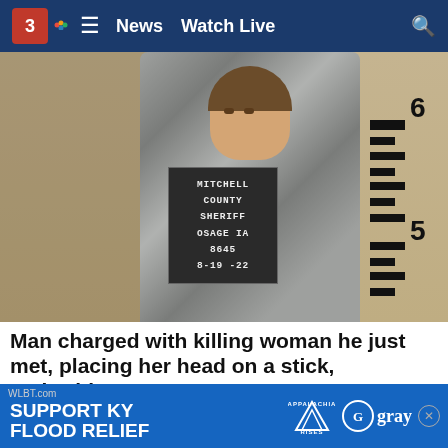3  ≡  News  Watch Live  🔍
[Figure (photo): Mugshot of a young white male in a gray striped jail uniform, holding a Mitchell County Sheriff sign. Sign reads: MITCHELL COUNTY SHERIFF OSAGE IA 8645 8-19-22. Height ruler visible on right side showing numbers 5 and 6.]
Man charged with killing woman he just met, placing her head on a stick, authorities say
A man in Iowa is facing charges in connection to the disappearance and death of a woman he had just met,  poli…
WLBT.com  SUPPORT KY FLOOD RELIEF  APPALACHIA RISES  gray  ⊗